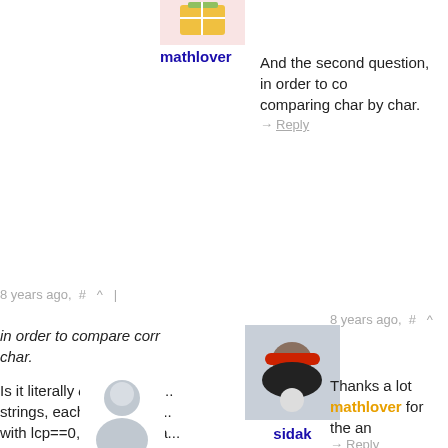[Figure (photo): Avatar image of user mathlover - yellow/gift image]
mathlover
And the second question, in order to co... comparing char by char.
→ Reply
8 years ago, # ^ |
[Figure (photo): Avatar photo of user sidak - person wearing red turban]
sidak
Thanks a lot mathlover for the an...
→ Reply
8 years ago, # ^ |
in order to compare corr... char.
Is it literally char by char... strings, each of length 1... with lcp==0, twice compa... gives us almost 10^10 o... 1.6s — a bit fast for 10^...
[Figure (photo): Default avatar silhouette for user I_love_Tanya_Romanova]
I_love_Tanya_Romanova